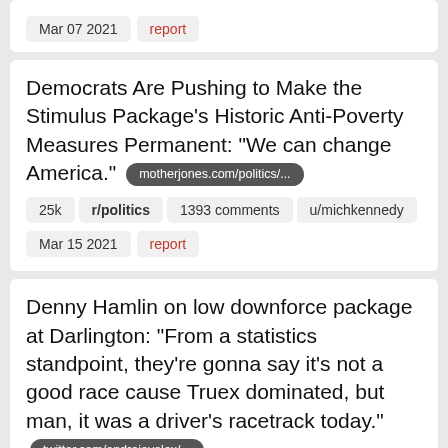Mar 07 2021   report
Democrats Are Pushing to Make the Stimulus Package's Historic Anti-Poverty Measures Permanent: “We can change America.” motherjones.com/politics/...
25k   r/politics   1393 comments   u/michkennedy
Mar 15 2021   report
Denny Hamlin on low downforce package at Darlington: “From a statistics standpoint, they’re gonna say it’s not a good race cause Truex dominated, but man, it was a driver’s racetrack today.” twitter.com/andrejevalex/...
716   r/NASCAR   188 comments   u/highway8628